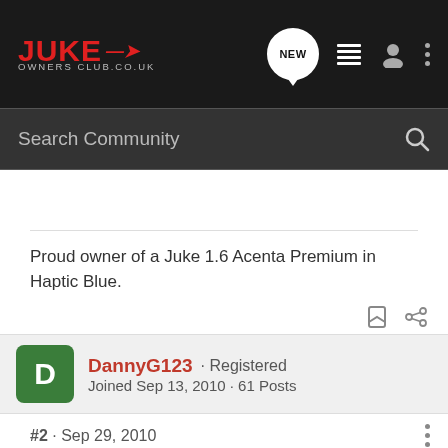JUKE OWNERS CLUB.CO.UK
Search Community
Proud owner of a Juke 1.6 Acenta Premium in Haptic Blue.
DannyG123 · Registered
Joined Sep 13, 2010 · 61 Posts
#2 · Sep 29, 2010
Not sure about any discounts but I think the 2 years free servicing 3 years free breakdown cover offer ends tomorrow.